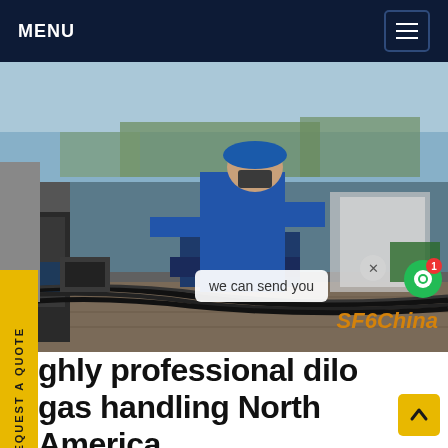MENU
[Figure (photo): Industrial worker in blue coveralls and blue hard hat operating gas handling equipment outdoors. Heavy machinery, cables, and wrapped equipment visible in an industrial yard setting.]
REQUEST A QUOTE
we can send you
SF6China
ghly professional dilo gas handling North America
sf6 gas gas handling Alternative Gases High pressure